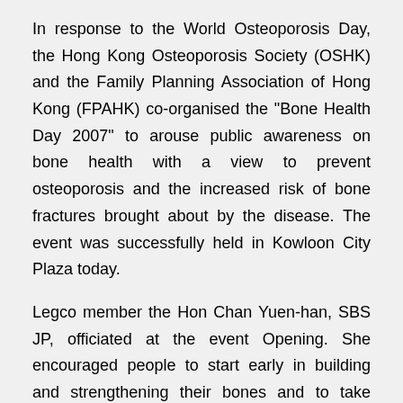In response to the World Osteoporosis Day, the Hong Kong Osteoporosis Society (OSHK) and the Family Planning Association of Hong Kong (FPAHK) co-organised the "Bone Health Day 2007" to arouse public awareness on bone health with a view to prevent osteoporosis and the increased risk of bone fractures brought about by the disease. The event was successfully held in Kowloon City Plaza today.
Legco member the Hon Chan Yuen-han, SBS JP, officiated at the event Opening. She encouraged people to start early in building and strengthening their bones and to take precautionary measures to protect themselves from bone fractures. She also commended OSHK, the Department of Orthopaedics and Traumatology, CUHK, and FPAHK for their work in promoting bone health. She said the impacts had started to be seen in society.
In his Welcoming Remarks, Dr Tai-pang Ip, Vice-President of OSHK, informed that the International Osteoporosis